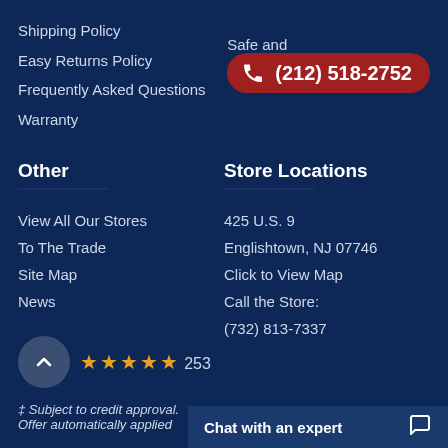Shipping Policy
Easy Returns Policy
Frequently Asked Questions
Warranty
Safe and
(212) 518-2752
Other
View All Our Stores
To The Trade
Site Map
News
Store Locations
425 U.S. 9
Englishtown, NJ 07746
Click to View Map
Call the Store:
(732) 813-7337
★★★★★ 253
‡ Subject to credit approval.
Offer automatically applied
Chat with an expert